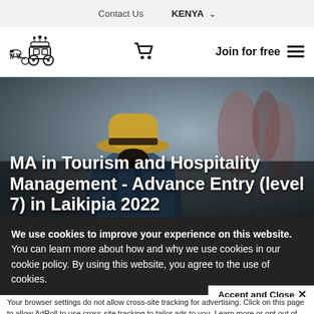Contact Us   KENYA ▾
[Figure (logo): Horse-drawn carriage logo icon]
Join for free  ☰
[Figure (photo): Person wearing a tan hat viewed from behind, crowd in background]
MA in Tourism and Hospitality Management - Advance Entry (level 7) in Laikipia 2022
We use cookies to improve your experience on this website. You can learn more about how and why we use cookies in our cookie policy. By using this website, you agree to the use of cookies.
Accept and Close ✕
Your browser settings do not allow cross-site tracking for advertising. Click on this page to allow AdRoll to use cross-site tracking to tailor ads to you. Learn more or opt out of this AdRoll tracking by clicking here. This message only appears once.